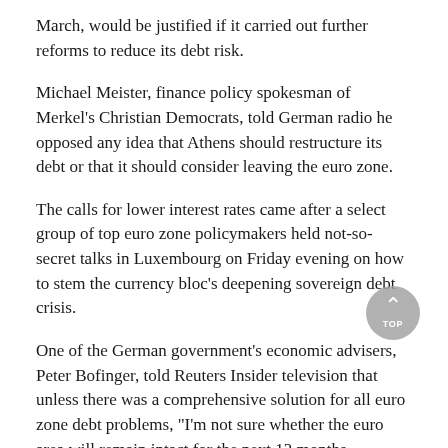March, would be justified if it carried out further reforms to reduce its debt risk.
Michael Meister, finance policy spokesman of Merkel's Christian Democrats, told German radio he opposed any idea that Athens should restructure its debt or that it should consider leaving the euro zone.
The calls for lower interest rates came after a select group of top euro zone policymakers held not-so-secret talks in Luxembourg on Friday evening on how to stem the currency bloc's deepening sovereign debt crisis.
One of the German government's economic advisers, Peter Bofinger, told Reuters Insider television that unless there was a comprehensive solution for all euro zone debt problems, "I'm not sure whether the euro area will remain intact for the next 12 months.
MERKEL TO MEET EU TOP BRASS